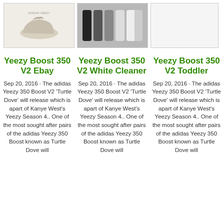[Figure (photo): Adidas Yeezy Boost 350 V2 shoe on light cream background]
[Figure (photo): Multiple shoelaces in various colors bundled together]
[Figure (photo): Empty/blank image placeholder]
Yeezy Boost 350 V2 Ebay
Yeezy Boost 350 V2 White Cleaner
Yeezy Boost 350 V2 Toddler
Sep 20, 2016 · The adidas Yeezy 350 Boost V2 'Turtle Dove' will release which is apart of Kanye West's Yeezy Season 4.. One of the most sought after pairs of the adidas Yeezy 350 Boost known as Turtle Dove will
Sep 20, 2016 · The adidas Yeezy 350 Boost V2 'Turtle Dove' will release which is apart of Kanye West's Yeezy Season 4.. One of the most sought after pairs of the adidas Yeezy 350 Boost known as Turtle Dove will
Sep 20, 2016 · The adidas Yeezy 350 Boost V2 'Turtle Dove' will release which is apart of Kanye West's Yeezy Season 4.. One of the most sought after pairs of the adidas Yeezy 350 Boost known as Turtle Dove will